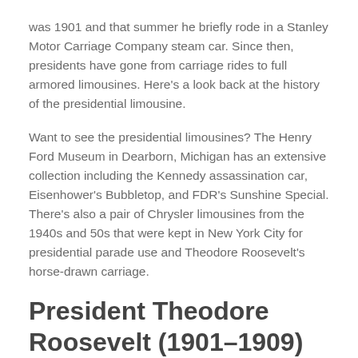was 1901 and that summer he briefly rode in a Stanley Motor Carriage Company steam car. Since then, presidents have gone from carriage rides to full armored limousines. Here's a look back at the history of the presidential limousine.
Want to see the presidential limousines? The Henry Ford Museum in Dearborn, Michigan has an extensive collection including the Kennedy assassination car, Eisenhower's Bubbletop, and FDR's Sunshine Special. There's also a pair of Chrysler limousines from the 1940s and 50s that were kept in New York City for presidential parade use and Theodore Roosevelt's horse-drawn carriage.
President Theodore Roosevelt (1901–1909)